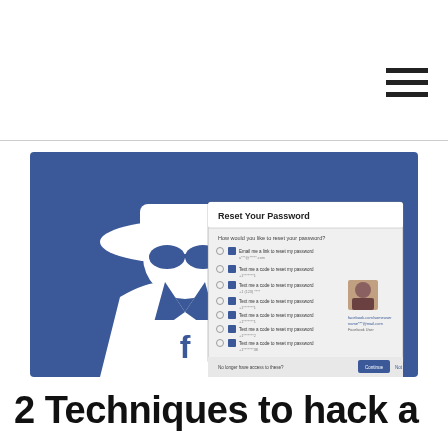[Figure (screenshot): A Facebook-themed illustration showing a white silhouette of a spy/hacker figure wearing a wide-brimmed hat and sunglasses, sitting at a laptop with the Facebook 'f' logo on the screen. Overlaid on the right side is a Facebook 'Reset Your Password' dialog box screenshot showing multiple options to reset a password, along with a profile picture and Facebook user link.]
2 Techniques to hack a